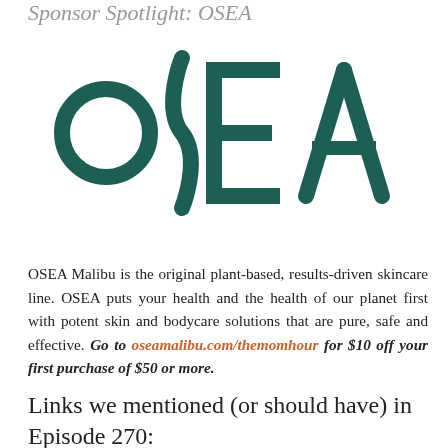Sponsor Spotlight: OSEA
[Figure (logo): OSEA logo in dark teal green, large stylized text showing O, S (as a curving vertical stroke), E, A]
OSEA Malibu is the original plant-based, results-driven skincare line. OSEA puts your health and the health of our planet first with potent skin and bodycare solutions that are pure, safe and effective. Go to oseamalibu.com/themomhour for $10 off your first purchase of $50 or more.
Links we mentioned (or should have) in Episode 270: